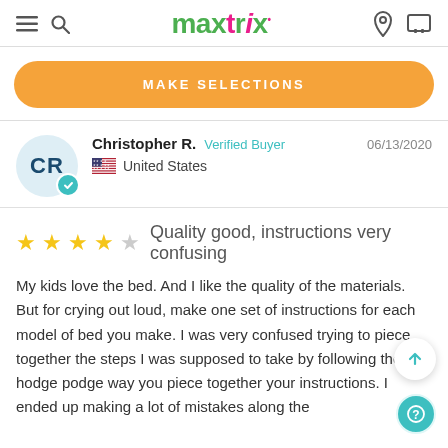maxtrix® — navigation header with hamburger, search, location, cart icons
MAKE SELECTIONS
Christopher R. Verified Buyer 06/13/2020 United States
★★★★☆ Quality good, instructions very confusing
My kids love the bed. And I like the quality of the materials. But for crying out loud, make one set of instructions for each model of bed you make. I was very confused trying to piece together the steps I was supposed to take by following the hodge podge way you piece together your instructions. I ended up making a lot of mistakes along the